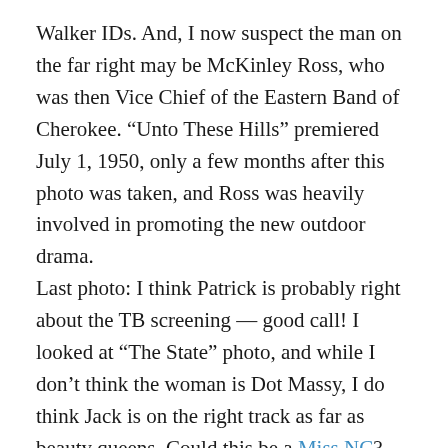Walker IDs. And, I now suspect the man on the far right may be McKinley Ross, who was then Vice Chief of the Eastern Band of Cherokee. “Unto These Hills” premiered July 1, 1950, only a few months after this photo was taken, and Ross was heavily involved in promoting the new outdoor drama.
Last photo: I think Patrick is probably right about the TB screening — good call! I looked at “The State” photo, and while I don’t think the woman is Dot Massy, I do think Jack is on the right track as far as beauty queens. Could this be a Miss NC? Those pretty brunettes are very hard to tell apart.
Reply